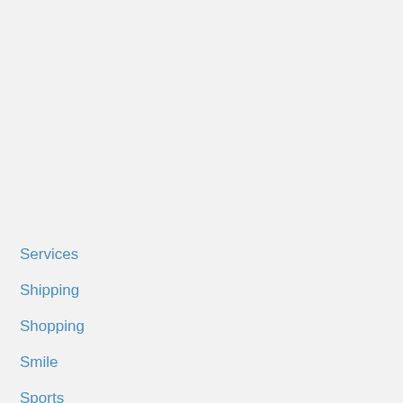Services
Shipping
Shopping
Smile
Sports